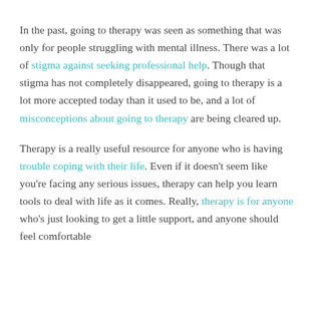In the past, going to therapy was seen as something that was only for people struggling with mental illness. There was a lot of stigma against seeking professional help. Though that stigma has not completely disappeared, going to therapy is a lot more accepted today than it used to be, and a lot of misconceptions about going to therapy are being cleared up.
Therapy is a really useful resource for anyone who is having trouble coping with their life. Even if it doesn't seem like you're facing any serious issues, therapy can help you learn tools to deal with life as it comes. Really, therapy is for anyone who's just looking to get a little support, and anyone should feel comfortable